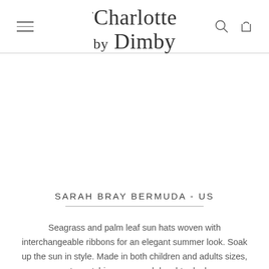Charlotte by Dimby
SARAH BRAY BERMUDA - US
Seagrass and palm leaf sun hats woven with interchangeable ribbons for an elegant summer look. Soak up the sun in style. Made in both children and adults sizes, create matching mum and daughter looks.